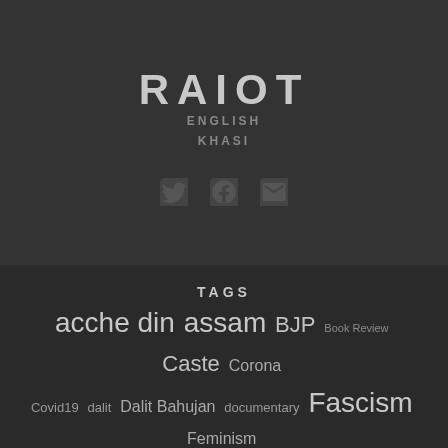RAIOT
ENGLISH
KHASI
[Figure (other): Social media icons: Twitter bird, Facebook f, and envelope/email icons]
TAGS
acche din assam BJP Book Review Caste Corona Covid19 dalit Dalit Bahujan documentary Fascism Feminism Fiction Gospel Hindi hindutva Hindutva Fascism